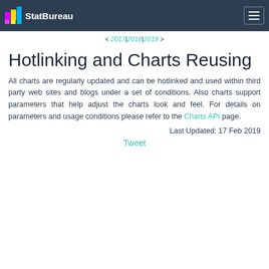StatBureau
< 2017 | 2018 | 2019 >
Hotlinking and Charts Reusing
All charts are regularly updated and can be hotlinked and used within third party web sites and blogs under a set of conditions. Also charts support parameters that help adjust the charts look and feel. For details on parameters and usage conditions please refer to the Charts API page.
Last Updated: 17 Feb 2019
Tweet